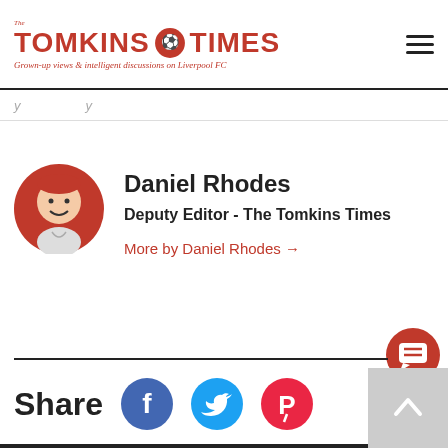The Tomkins Times - Grown-up views & intelligent discussions on Liverpool FC
More by Daniel Rhodes →
Daniel Rhodes
Deputy Editor - The Tomkins Times
More by Daniel Rhodes →
Share
[Figure (illustration): Share icons for Facebook, Twitter, and Pinterest]
4 comments button